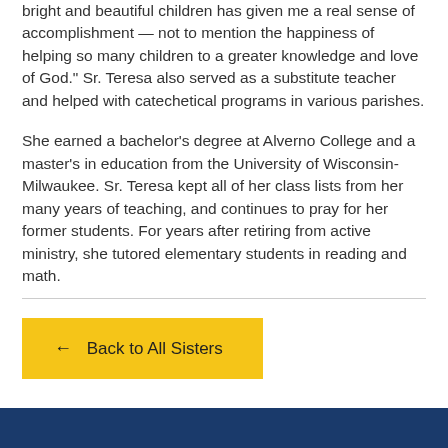bright and beautiful children has given me a real sense of accomplishment — not to mention the happiness of helping so many children to a greater knowledge and love of God." Sr. Teresa also served as a substitute teacher and helped with catechetical programs in various parishes.
She earned a bachelor's degree at Alverno College and a master's in education from the University of Wisconsin-Milwaukee. Sr. Teresa kept all of her class lists from her many years of teaching, and continues to pray for her former students. For years after retiring from active ministry, she tutored elementary students in reading and math.
← Back to All Sisters